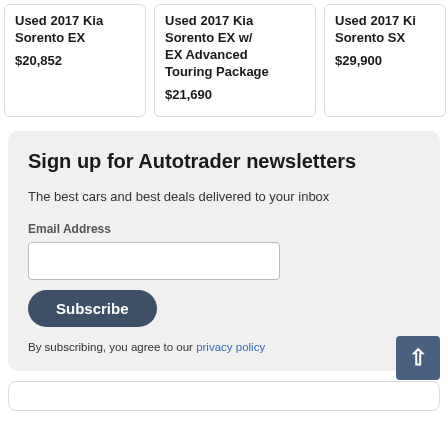Used 2017 Kia Sorento EX
$20,852
Used 2017 Kia Sorento EX w/ EX Advanced Touring Package
$21,690
Used 2017 Kia Sorento SX
$29,900
Sign up for Autotrader newsletters
The best cars and best deals delivered to your inbox
Email Address
Subscribe
By subscribing, you agree to our privacy policy